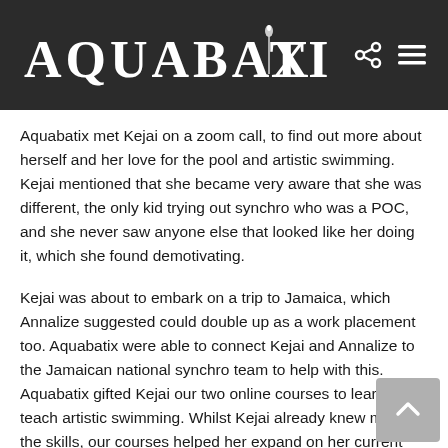AQUABATIX
Aquabatix met Kejai on a zoom call, to find out more about herself and her love for the pool and artistic swimming. Kejai mentioned that she became very aware that she was different, the only kid trying out synchro who was a POC, and she never saw anyone else that looked like her doing it, which she found demotivating.
Kejai was about to embark on a trip to Jamaica, which Annalize suggested could double up as a work placement too. Aquabatix were able to connect Kejai and Annalize to the Jamaican national synchro team to help with this. Aquabatix gifted Kejai our two online courses to learn to teach artistic swimming. Whilst Kejai already knew many of the skills, our courses helped her expand on her current knowledge and expertise from having participated in artistic